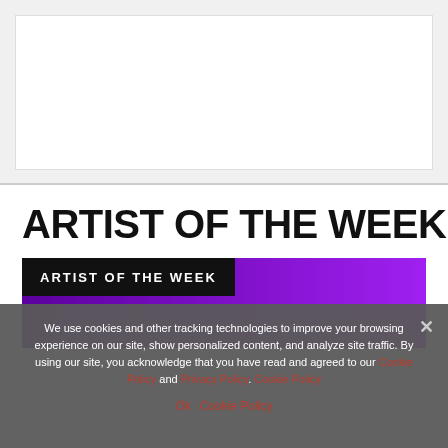[Figure (other): Top browser/ad area with light gray background and white inner rectangle]
ARTIST OF THE WEEK
[Figure (illustration): Purple gradient banner with black label reading 'ARTIST OF THE WEEK']
We use cookies and other tracking technologies to improve your browsing experience on our site, show personalized content, and analyze site traffic. By using our site, you acknowledge that you have read and agreed to our Cookie Policy and Privacy Policy. Cookie Policy
Ok Cookie Policy